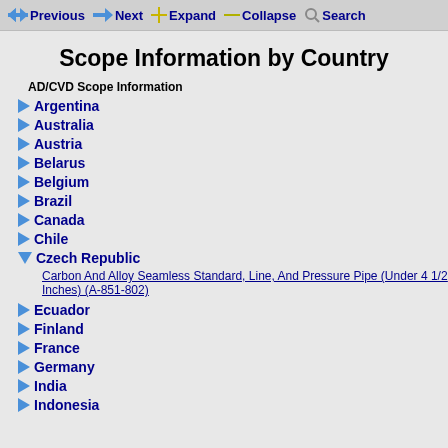Previous  Next  Expand  Collapse  Search
Scope Information by Country
AD/CVD Scope Information
Argentina
Australia
Austria
Belarus
Belgium
Brazil
Canada
Chile
Czech Republic
Carbon And Alloy Seamless Standard, Line, And Pressure Pipe (Under 4 1/2 Inches) (A-851-802)
Ecuador
Finland
France
Germany
India
Indonesia